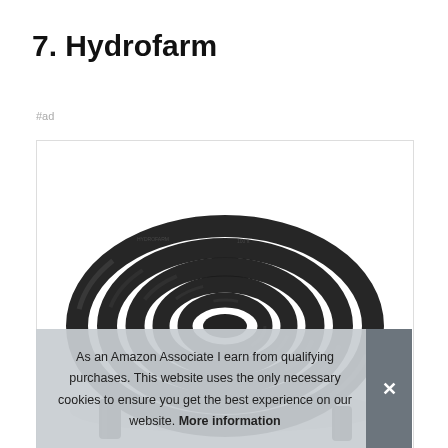7. Hydrofarm
#ad
[Figure (photo): A coiled black irrigation/hydroponic hose or tubing, photographed from above on a white background, showing multiple loops of shiny black flexible hose.]
As an Amazon Associate I earn from qualifying purchases. This website uses the only necessary cookies to ensure you get the best experience on our website. More information